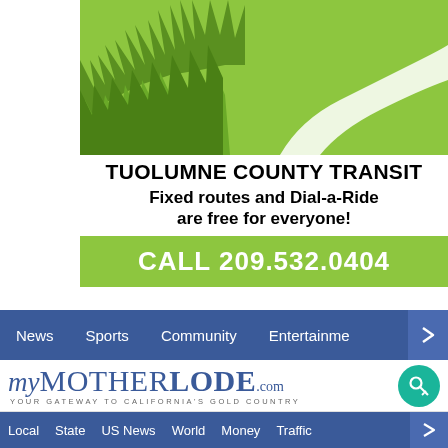[Figure (logo): Tuolumne County Transit advertisement with green background showing tree silhouettes and winding road. Text reads: TUOLUMNE COUNTY TRANSIT, Fixed routes and Dial-a-Ride are free for everyone!, CALL 209.532.0404]
News | Sports | Community | Entertainment
[Figure (logo): myMotherLode.com logo - YOUR GATEWAY TO CALIFORNIA'S GOLD COUNTRY]
Local | State | US News | World | Money | Traffic